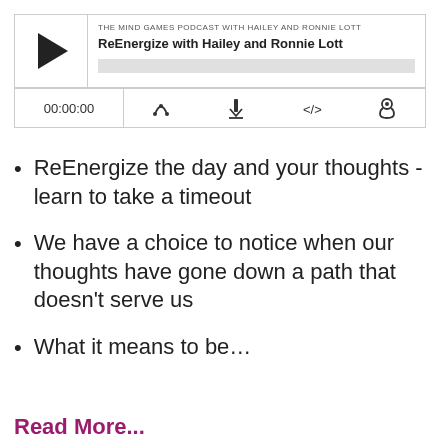[Figure (screenshot): Podcast audio player widget showing 'THE MIND GAMES PODCAST WITH HAILEY AND RONNIE LOTT' and episode 'ReEnergize with Hailey and Ronnie Lott' with play button, progress bar, time display 00:00:00, and control icons for subscribe, download, embed, and share.]
ReEnergize the day and your thoughts - learn to take a timeout
We have a choice to notice when our thoughts have gone down a path that doesn't serve us
What it means to be…
Read More...